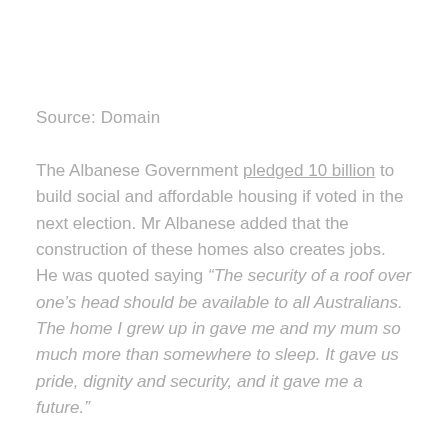Source: Domain
The Albanese Government pledged 10 billion to build social and affordable housing if voted in the next election. Mr Albanese added that the construction of these homes also creates jobs. He was quoted saying “The security of a roof over one’s head should be available to all Australians. The home I grew up in gave me and my mum so much more than somewhere to sleep. It gave us pride, dignity and security, and it gave me a future.”